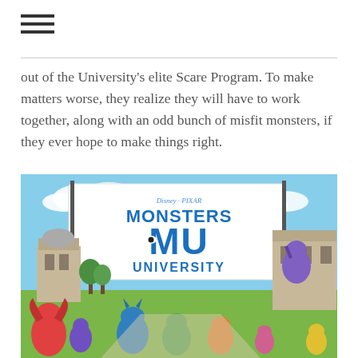≡
out of the University's elite Scare Program. To make matters worse, they realize they will have to work together, along with an odd bunch of misfit monsters, if they ever hope to make things right.
[Figure (photo): Disney Pixar Monsters University movie poster showing the MU banner with monsters gathered below in front of a university campus]